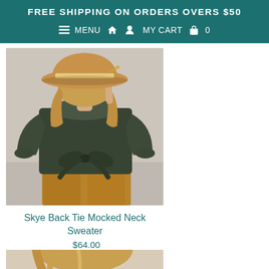FREE SHIPPING ON ORDERS OVERS $50
≡ MENU  🏠  👤  MY CART  🛍  0
[Figure (photo): Back view of a woman wearing a tan wide-brim hat, dark olive/green long-sleeve back-tie mock neck sweater, and mustard/ochre wide-leg pants. The back bow tie of the sweater is visible at the waist.]
Skye Back Tie Mocked Neck Sweater
$64.00
[Figure (photo): Partial view of a second product photo showing a woman with blonde hair, cropped at the bottom of the page.]